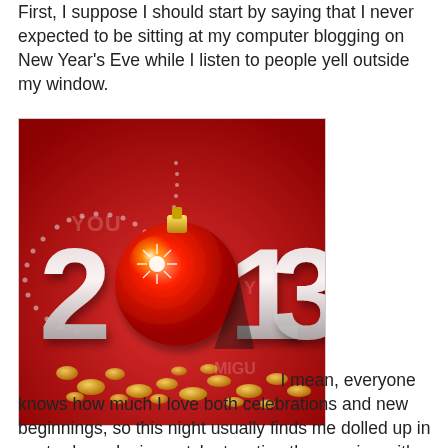First, I suppose I should start by saying that I never expected to be sitting at my computer blogging on New Year's Eve while I listen to people yell outside my window.
[Figure (illustration): New Year 2013 illustration on red background with 3D metallic numbers '2013', the zero replaced by a red Christmas ornament ball with gold cap, surrounded by scattered gold coins on a red surface. Watermark text partially visible.]
I mean, everyone knows how much I love both celebrations and new beginnings, so this night usually finds me dolled up in my trademark pinup style, toasting the evening with my standard